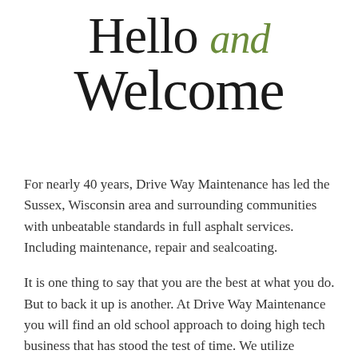Hello and Welcome
For nearly 40 years, Drive Way Maintenance has led the Sussex, Wisconsin area and surrounding communities with unbeatable standards in full asphalt services. Including maintenance, repair and sealcoating.
It is one thing to say that you are the best at what you do. But to back it up is another. At Drive Way Maintenance you will find an old school approach to doing high tech business that has stood the test of time. We utilize